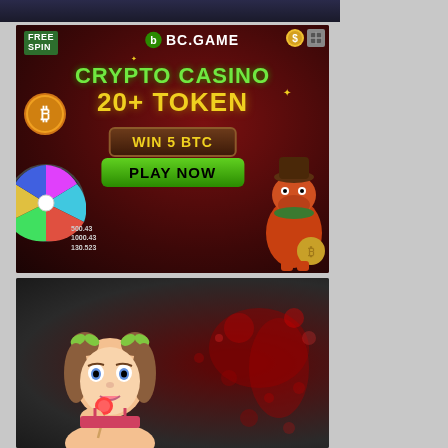[Figure (illustration): Dark banner/header strip at top, partial view]
[Figure (illustration): BC.GAME crypto casino advertisement banner with dark red background. Shows 'FREE SPIN' badge, BC.GAME logo, 'CRYPTO CASINO 20+ TOKEN' in green and yellow text, 'WIN 5 BTC' button, 'PLAY NOW' green button, spinning wheel graphic, Bitcoin coin, numbers on left side, and cartoon crocodile character on right.]
[Figure (illustration): Casino advertisement with dark background and red splash/splatter effect. Shows illustrated cartoon girl with brown hair eating a lollipop in pin-up style.]